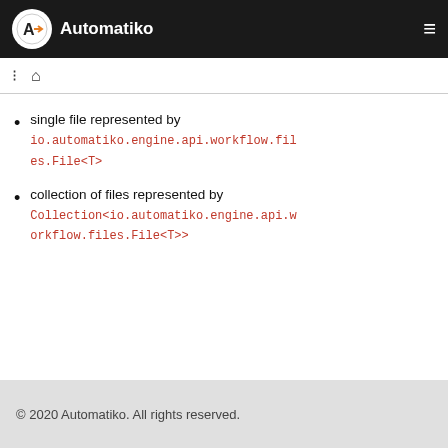Automatiko
single file represented by io.automatiko.engine.api.workflow.files.File<T>
collection of files represented by Collection<io.automatiko.engine.api.workflow.files.File<T>>
© 2020 Automatiko. All rights reserved.